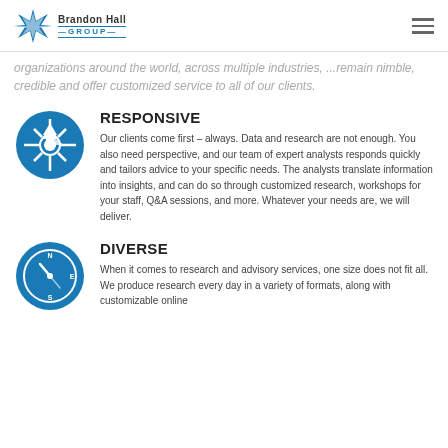Brandon Hall GROUP
organizations around the world, across multiple industries, ...remain nimble, credible and offer customized service to all of our clients.
[Figure (logo): Blue circular icon with upward arrow and gear/segments]
RESPONSIVE
Our clients come first – always. Data and research are not enough. You also need perspective, and our team of expert analysts responds quickly and tailors advice to your specific needs. The analysts translate information into insights, and can do so through customized research, workshops for your staff, Q&A sessions, and more. Whatever your needs are, we will deliver.
[Figure (logo): Blue circular compass icon with N, E, S directional markers]
DIVERSE
When it comes to research and advisory services, one size does not fit all. We produce research every day in a variety of formats, along with customizable online